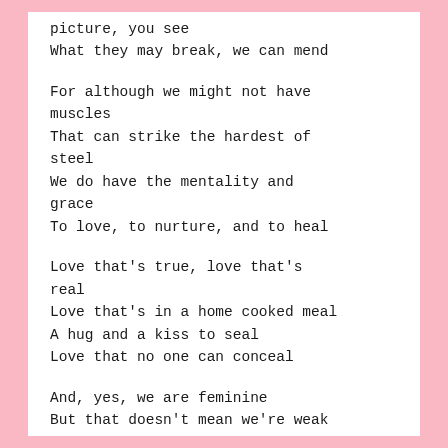picture, you see
What they may break, we can mend
For although we might not have muscles
That can strike the hardest of steel
We do have the mentality and grace
To love, to nurture, and to heal
Love that's true, love that's real
Love that's in a home cooked meal
A hug and a kiss to seal
Love that no one can conceal
And, yes, we are feminine
But that doesn't mean we're weak